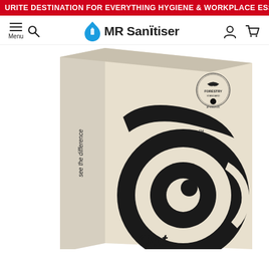YOUR FAVOURITE DESTINATION FOR EVERYTHING HYGIENE & WORKPLACE ESSENTIALS.
[Figure (screenshot): MR Sanitiser website navigation bar with hamburger menu, search icon, MR Sanitiser logo (blue water drop with sanitiser bottle), user account icon, and shopping cart icon]
[Figure (photo): Product box in cream/beige color with large black spiral/swirl logo design, text 'see the difference' on spine, Forestry Standard certification logo in top right corner, and trademark symbol. Partial view showing the front and left spine of the box.]